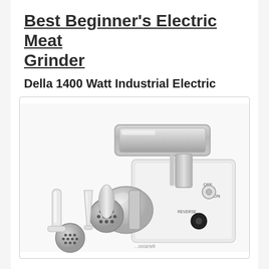Best Beginner's Electric Meat Grinder
Della 1400 Watt Industrial Electric
[Figure (photo): Photo of a Della 1400 Watt Industrial Electric Meat Grinder, white body with stainless steel components, showing the feed tray on top, grinding head with die plate, two sausage stuffing tubes (white plastic), and a control panel with OFF/ON switch and REVERSE knob.]